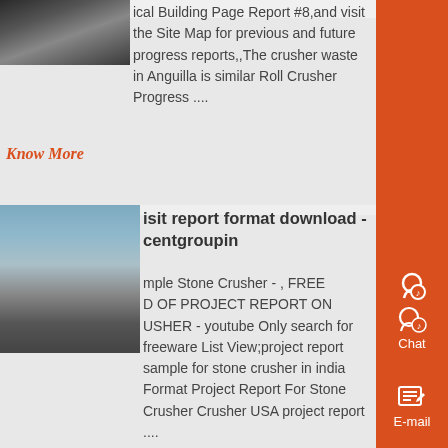[Figure (photo): Small industrial image showing dark machinery/equipment parts, partially cropped]
ical Building Page Report #8,and visit the Site Map for previous and future progress reports,,The crusher waste in Anguilla is similar Roll Crusher Progress ....
Know More
[Figure (photo): Industrial stone crusher machinery with large cylindrical equipment, outdoor setting with blue sky]
isit report format download - centgroupin
mple Stone Crusher - , FREE D OF PROJECT REPORT ON USHER - youtube Only search for freeware List View;project report sample for stone crusher in india Format Project Report For Stone Crusher Crusher USA project report ....
Know More